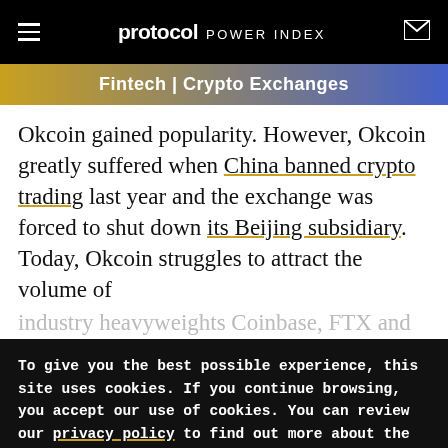protocol POWER INDEX
Fintech | Crypto Exchanges
Okcoin gained popularity. However, Okcoin greatly suffered when China banned crypto trading last year and the exchange was forced to shut down its Beijing subsidiary. Today, Okcoin struggles to attract the volume of industry heavyweights Coinbase, FTX and
To give you the best possible experience, this site uses cookies. If you continue browsing, you accept our use of cookies. You can review our privacy policy to find out more about the cookies we use.
Accept